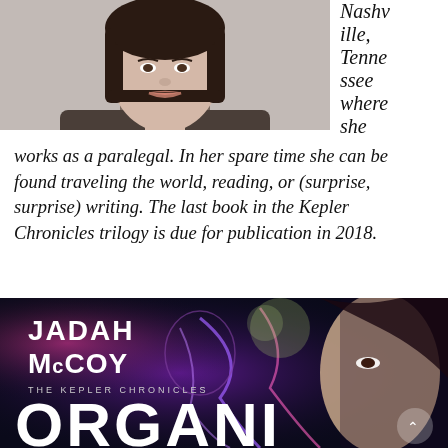[Figure (photo): Author headshot: young woman with dark bob haircut, grey background, wearing dark top]
Nashville, Tennessee where she works as a paralegal. In her spare time she can be found traveling the world, reading, or (surprise, surprise) writing. The last book in the Kepler Chronicles trilogy is due for publication in 2018.
[Figure (photo): Book cover for 'Organic' by Jadah McCoy, The Kepler Chronicles series. Dark sci-fi cover with neon colors, woman's face on right side.]